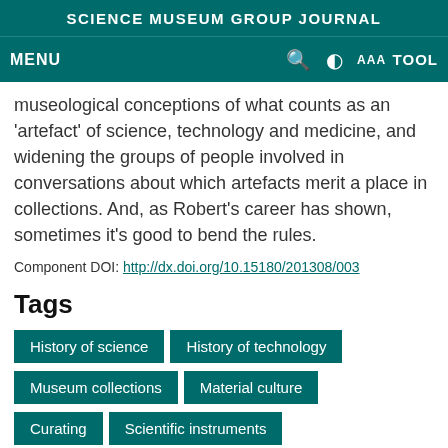SCIENCE MUSEUM GROUP JOURNAL
museological conceptions of what counts as an 'artefact' of science, technology and medicine, and widening the groups of people involved in conversations about which artefacts merit a place in collections. And, as Robert's career has shown, sometimes it's good to bend the rules.
Component DOI: http://dx.doi.org/10.15180/201308/003
Tags
History of science
History of technology
Museum collections
Material culture
Curating
Scientific instruments